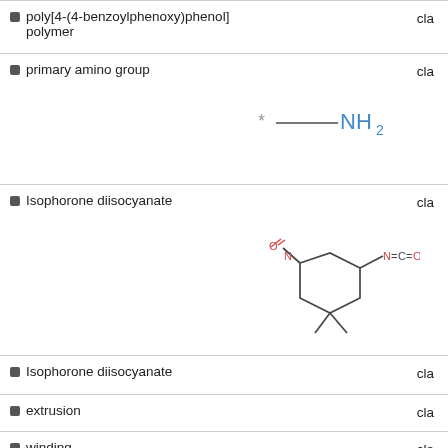poly[4-(4-benzoylphenoxy)phenol] polymer   cla
primary amino group   cla
[Figure (schematic): Chemical structure of primary amino group: *—NH2]
Isophorone diisocyanate   cla
[Figure (schematic): Chemical structure of Isophorone diisocyanate]
Isophorone diisocyanate   cla
extrusion   cla
winding   cla
Adipic acid   cla
[Figure (schematic): Partial chemical structure of Adipic acid at bottom of page]